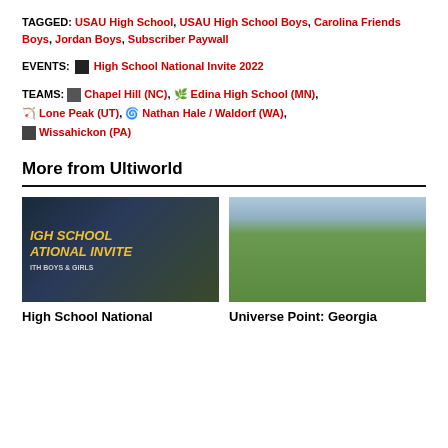TAGGED: USAU High School, USAU High School Boys, Carolina Friends Boys, Jordan Boys, Subscriber Paywall
EVENTS: High School National Invite 2022
TEAMS: Chapel Hill (NC), Edina High School (MN), Lone Peak (UT), Nathan Hale / Waldorf (WA), Wissahickon (PA)
More from Ultiworld
[Figure (photo): High School National Invite promotional image with text overlay]
[Figure (photo): Ultimate frisbee players on a green field]
High School National
Universe Point: Georgia